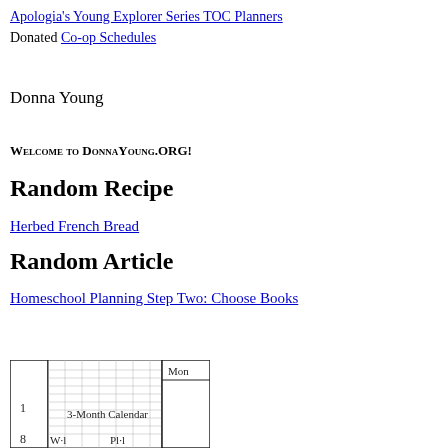Apologia's Young Explorer Series TOC Planners
Donated Co-op Schedules
Donna Young
Welcome to DonnaYoung.org!
Random Recipe
Herbed French Bread
Random Article
Homeschool Planning Step Two: Choose Books
[Figure (other): Partial calendar/planner thumbnail showing a 3-Month Calendar grid with Mon column header and the number 1, partially cut off at bottom]